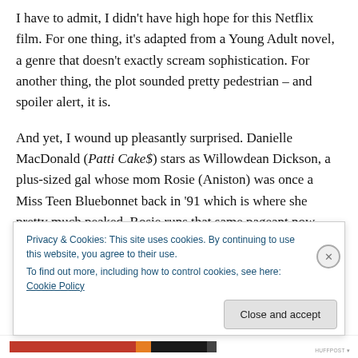I have to admit, I didn't have high hope for this Netflix film. For one thing, it's adapted from a Young Adult novel, a genre that doesn't exactly scream sophistication. For another thing, the plot sounded pretty pedestrian – and spoiler alert, it is.
And yet, I wound up pleasantly surprised. Danielle MacDonald (Patti Cake$) stars as Willowdean Dickson, a plus-sized gal whose mom Rosie (Aniston) was once a Miss Teen Bluebonnet back in '91 which is where she pretty much peaked. Rosie runs that same pageant now,
Privacy & Cookies: This site uses cookies. By continuing to use this website, you agree to their use.
To find out more, including how to control cookies, see here: Cookie Policy